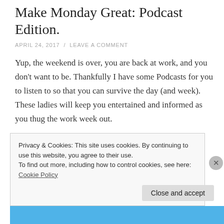Make Monday Great: Podcast Edition.
APRIL 24, 2017 / LEAVE A COMMENT
Yup, the weekend is over, you are back at work, and you don't want to be. Thankfully I have some Podcasts for you to listen to so that you can survive the day (and week). These ladies will keep you entertained and informed as you thug the work week out.
Privacy & Cookies: This site uses cookies. By continuing to use this website, you agree to their use.
To find out more, including how to control cookies, see here: Cookie Policy
Close and accept